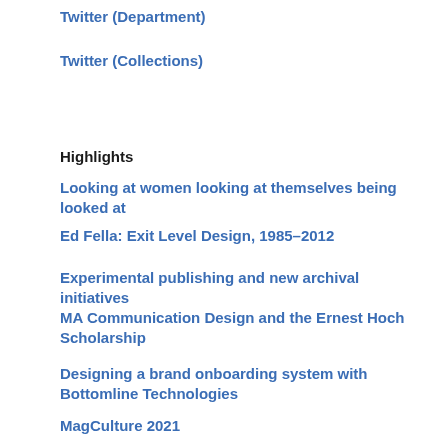Twitter (Department)
Twitter (Collections)
Highlights
Looking at women looking at themselves being looked at
Ed Fella: Exit Level Design, 1985–2012
Experimental publishing and new archival initiatives
MA Communication Design and the Ernest Hoch Scholarship
Designing a brand onboarding system with Bottomline Technologies
MagCulture 2021
Think Rethink – our graduate degree show – REGISTER NOW!